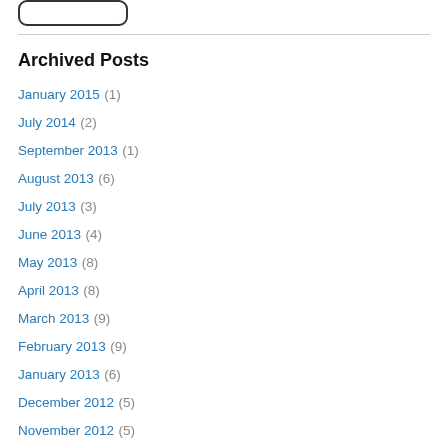[Figure (logo): Rounded rectangle logo/button shape at top left]
Archived Posts
January 2015 (1)
July 2014 (2)
September 2013 (1)
August 2013 (6)
July 2013 (3)
June 2013 (4)
May 2013 (8)
April 2013 (8)
March 2013 (9)
February 2013 (9)
January 2013 (6)
December 2012 (5)
November 2012 (5)
October 2012 (6)
September 2012 (5)